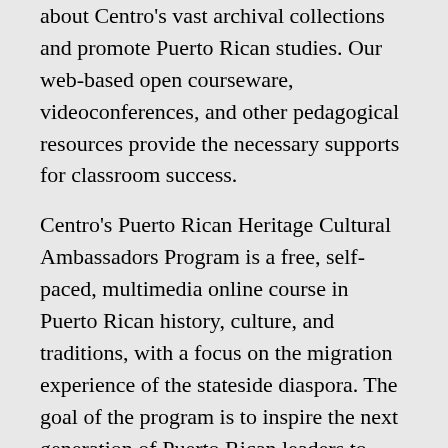about Centro's vast archival collections and promote Puerto Rican studies. Our web-based open courseware, videoconferences, and other pedagogical resources provide the necessary supports for classroom success.
Centro's Puerto Rican Heritage Cultural Ambassadors Program is a free, self-paced, multimedia online course in Puerto Rican history, culture, and traditions, with a focus on the migration experience of the stateside diaspora. The goal of the program is to inspire the next generation of Puerto Rican leaders to become a driving force of change for themselves and their communities. The program engages youth and educational institutions in promoting the teaching and learning of our heritage. Participants not only gain knowledge but also develop leadership, research, and presentation skills.